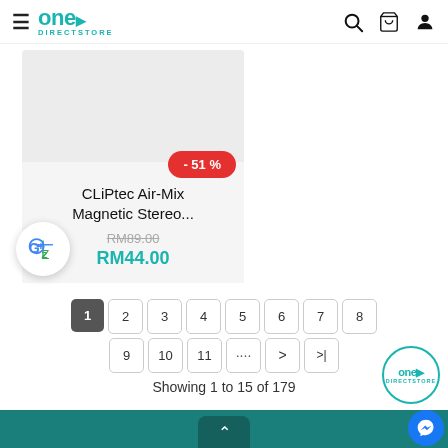One Direct Store — navigation header with hamburger menu, logo, search, cart, and user icons
[Figure (screenshot): Product card for CLiPtec Air-Mix Magnetic Stereo... showing a -51% discount badge, original price RM89.00 struck through, sale price RM44.00 in teal]
Showing 1 to 15 of 179
Teal footer bar with up-arrow button and One Direct Store logo with Messenger icon